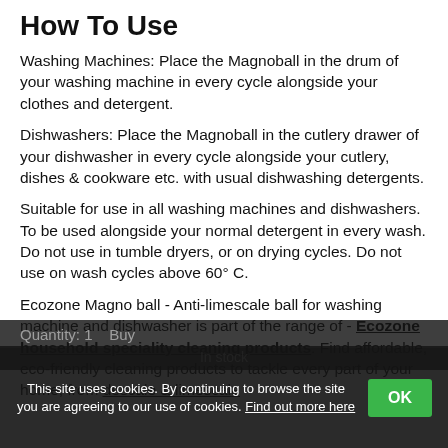How To Use
Washing Machines: Place the Magnoball in the drum of your washing machine in every cycle alongside your clothes and detergent.
Dishwashers: Place the Magnoball in the cutlery drawer of your dishwasher in every cycle alongside your cutlery, dishes & cookware etc. with usual dishwashing detergents.
Suitable for use in all washing machines and dishwashers. To be used alongside your normal detergent in every wash. Do not use in tumble dryers, or on drying cycles. Do not use on wash cycles above 60° C.
Ecozone Magno ball - Anti-limescale ball for washing machine and dishwasher is part of the range of - Ecozone household speciality cleaning products. Find affordable, eco-friendly cleaning products to tackle every part of your home, from descale & limescale
Quantity: 1    Buy
In stock
This site uses cookies. By continuing to browse the site you are agreeing to our use of cookies. Find out more here   OK